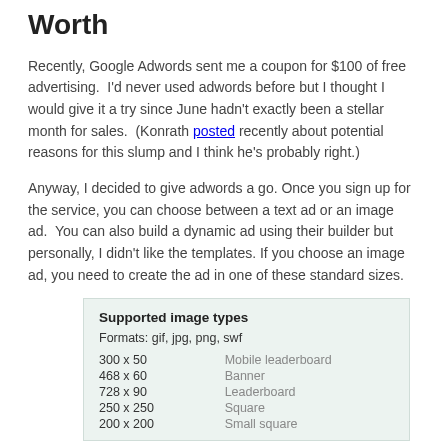Worth
Recently, Google Adwords sent me a coupon for $100 of free advertising.  I'd never used adwords before but I thought I would give it a try since June hadn't exactly been a stellar month for sales.  (Konrath posted recently about potential reasons for this slump and I think he's probably right.)
Anyway, I decided to give adwords a go. Once you sign up for the service, you can choose between a text ad or an image ad.  You can also build a dynamic ad using their builder but personally, I didn't like the templates. If you choose an image ad, you need to create the ad in one of these standard sizes.
| Supported image types |  |
| --- | --- |
| Formats: gif, jpg, png, swf |  |
| 300 x 50 | Mobile leaderboard |
| 468 x 60 | Banner |
| 728 x 90 | Leaderboard |
| 250 x 250 | Square |
| 200 x 200 | Small square |